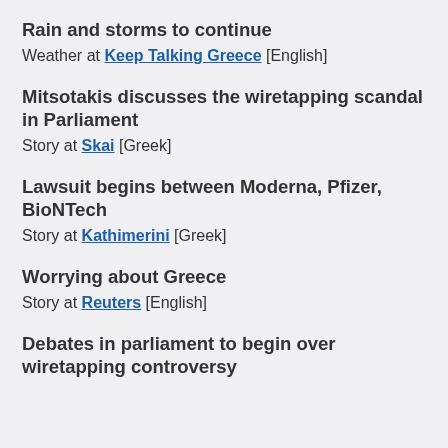Rain and storms to continue
Weather at Keep Talking Greece [English]
Mitsotakis discusses the wiretapping scandal in Parliament
Story at Skai [Greek]
Lawsuit begins between Moderna, Pfizer, BioNTech
Story at Kathimerini [Greek]
Worrying about Greece
Story at Reuters [English]
Debates in parliament to begin over wiretapping controversy